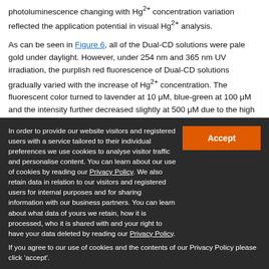photoluminescence changing with Hg²⁺ concentration variation reflected the application potential in visual Hg²⁺ analysis.
As can be seen in Figure 6, all of the Dual-CD solutions were pale gold under daylight. However, under 254 nm and 365 nm UV irradiation, the purplish red fluorescence of Dual-CD solutions gradually varied with the increase of Hg²⁺ concentration. The fluorescent color turned to lavender at 10 μM, blue-green at 100 μM and the intensity further decreased slightly at 500 μM due to the high concentration. Owing to the lower penetration of 254 nm ultraviolet, the fluorescence mainly concentrated on the irradiation interface, while the 365...
In order to provide our website visitors and registered users with a service tailored to their individual preferences we use cookies to analyse visitor traffic and personalise content. You can learn about our use of cookies by reading our Privacy Policy. We also retain data in relation to our visitors and registered users for internal purposes and for sharing information with our business partners. You can learn about what data of yours we retain, how it is processed, who it is shared with and your right to have your data deleted by reading our Privacy Policy.
If you agree to our use of cookies and the contents of our Privacy Policy please click 'accept'.